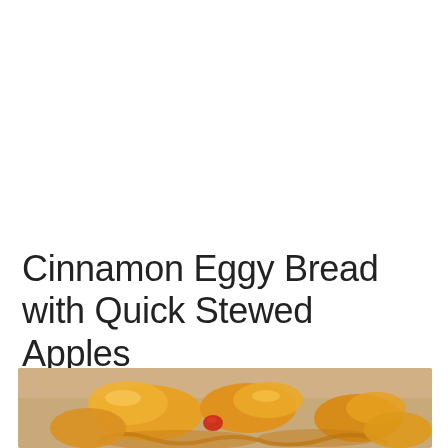Cinnamon Eggy Bread with Quick Stewed Apples
[Figure (photo): Close-up photo of golden caramelized stewed apple chunks with a glossy sauce, partially visible at the bottom of the page, showing orange-yellow apple pieces with a hint of red, on a blurred beige background.]